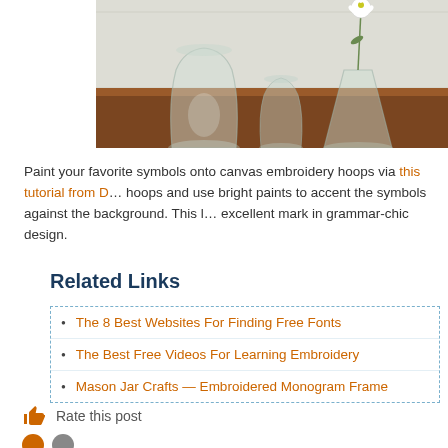[Figure (photo): Photo of glass vases on a wooden table against a white paneled wall background. A tall clear glass vase, a smaller glass vessel, and a triangular glass vase with a white daisy flower are arranged on a dark wood surface.]
Paint your favorite symbols onto canvas embroidery hoops via this tutorial from D… hoops and use bright paints to accent the symbols against the background. This l… excellent mark in grammar-chic design.
Related Links
The 8 Best Websites For Finding Free Fonts
The Best Free Videos For Learning Embroidery
Mason Jar Crafts — Embroidered Monogram Frame
Rate this post